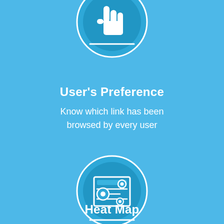[Figure (illustration): White hand/pointer icon inside a blue circle on a light blue background, partially cropped at top]
User's Preference
Know which link has been browsed by every user
[Figure (illustration): White heatmap/analytics icon inside a blue circle on a light blue background]
Heat Map